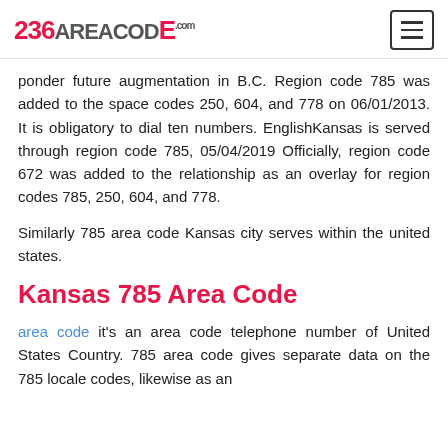236AREACODE.com
ponder future augmentation in B.C. Region code 785 was added to the space codes 250, 604, and 778 on 06/01/2013. It is obligatory to dial ten numbers. EnglishKansas is served through region code 785, 05/04/2019 Officially, region code 672 was added to the relationship as an overlay for region codes 785, 250, 604, and 778.
Similarly 785 area code Kansas city serves within the united states.
Kansas 785 Area Code
area code it's an area code telephone number of United States Country. 785 area code gives separate data on the 785 locale codes, likewise as an